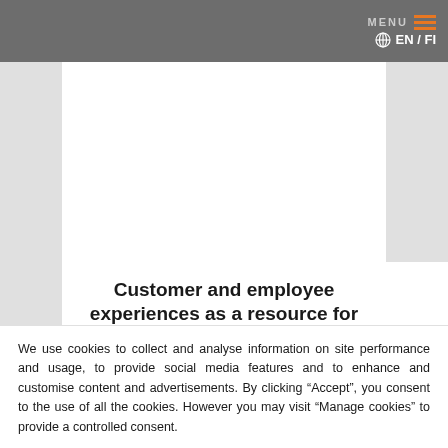MENU EN / FI
Customer and employee experiences as a resource for Nepton
We use cookies to collect and analyse information on site performance and usage, to provide social media features and to enhance and customise content and advertisements. By clicking “Accept”, you consent to the use of all the cookies. However you may visit “Manage cookies” to provide a controlled consent.
Privacy policy
Accept    Deny    Manage cookies